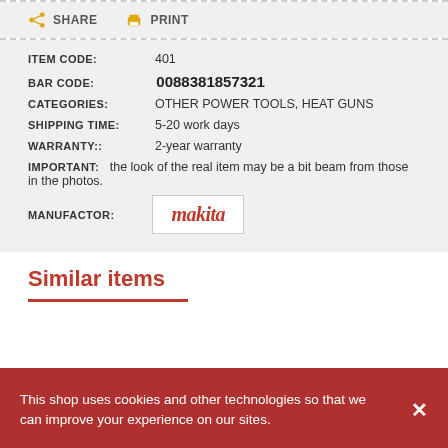SHARE   PRINT
ITEM CODE: 401
BAR CODE: 0088381857321
CATEGORIES: OTHER POWER TOOLS, HEAT GUNS
SHIPPING TIME: 5-20 work days
WARRANTY:: 2-year warranty
IMPORTANT: the look of the real item may be a bit beam from those in the photos.
MANUFACTOR: makita
Similar items
This shop uses cookies and other technologies so that we can improve your experience on our sites.